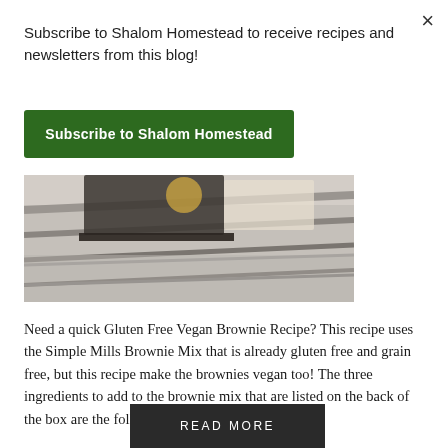×
Subscribe to Shalom Homestead to receive recipes and newsletters from this blog!
Subscribe to Shalom Homestead
[Figure (photo): Close-up photo of food items on a wooden surface, partially visible brownie or baked goods]
Need a quick Gluten Free Vegan Brownie Recipe? This recipe uses the Simple Mills Brownie Mix that is already gluten free and grain free, but this recipe make the brownies vegan too! The three ingredients to add to the brownie mix that are listed on the back of the box are the following: oil, water,...
READ MORE